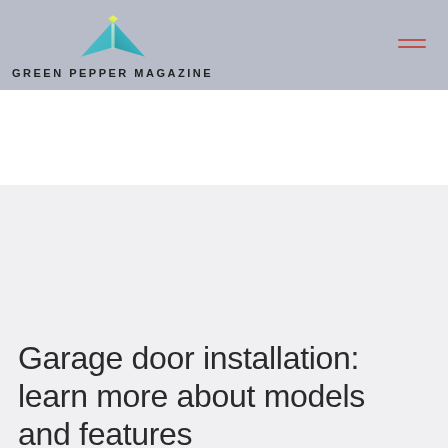[Figure (logo): Green Pepper Magazine logo: open book with colorful gradient pages in teal, blue, purple, and yellow-green, with the text GREEN PEPPER MAGAZINE below in bold uppercase letters]
Garage door installation: learn more about models and features